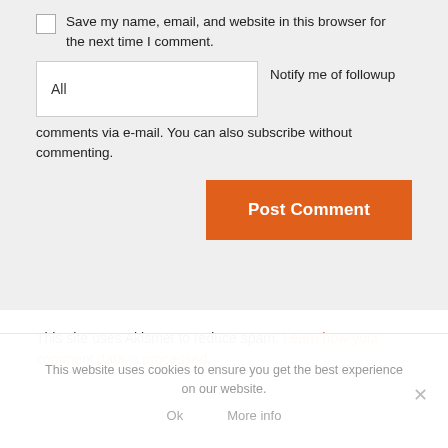Save my name, email, and website in this browser for the next time I comment.
All   Notify me of followup comments via e-mail. You can also subscribe without commenting.
Post Comment
This site uses Akismet to reduce spam. Learn how your comment data is processed.
This website uses cookies to ensure you get the best experience on our website.
Ok   More info